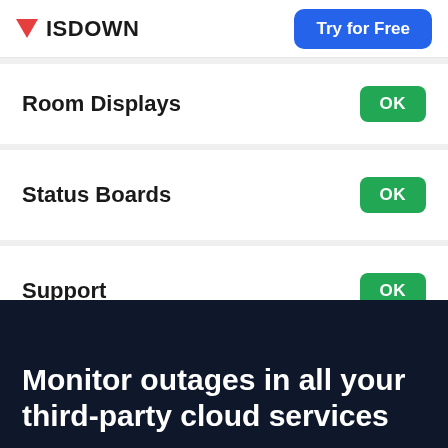ISDOWN
Try for Free
Room Displays — OK
Status Boards — OK
Support — OK
Monitor outages in all your third-party cloud services